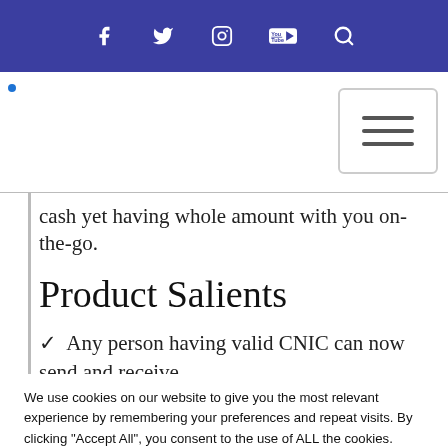Navigation bar with social media icons: Facebook, Twitter, Instagram, YouTube, Search
[Figure (screenshot): Hamburger menu button (three horizontal lines) in a rounded rectangle border]
cash yet having whole amount with you on-the-go.
Product Salients
✓  Any person having valid CNIC can now send and receive
We use cookies on our website to give you the most relevant experience by remembering your preferences and repeat visits. By clicking "Accept All", you consent to the use of ALL the cookies. However, you may visit "Cookie Settings" to provide a controlled consent.